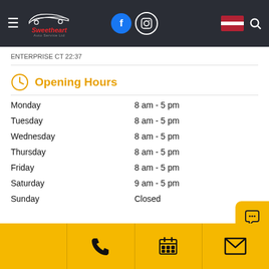Sweetheart Auto Service — navigation bar with logo, Facebook, Instagram, US flag, search
ENTERPRISE CT 22:37
Opening Hours
| Day | Hours |
| --- | --- |
| Monday | 8 am - 5 pm |
| Tuesday | 8 am - 5 pm |
| Wednesday | 8 am - 5 pm |
| Thursday | 8 am - 5 pm |
| Friday | 8 am - 5 pm |
| Saturday | 9 am - 5 pm |
| Sunday | Closed |
ASK A QUESTION
Bottom bar with phone, calendar, and email icons